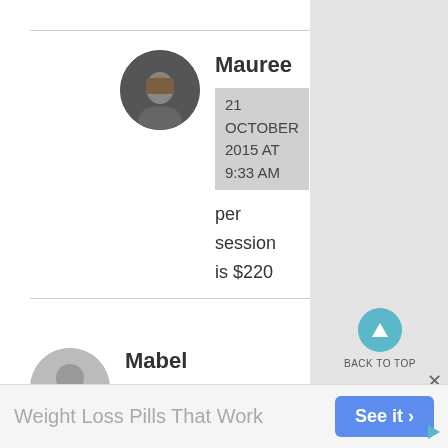[Figure (photo): Circular avatar image of user Mauree, showing a dark-toned profile photo]
Mauree
21 OCTOBER 2015 AT 9:33 AM
per session is $220
[Figure (illustration): Circular grey placeholder avatar for user Mabel]
Mabel
15 NOVEMBER 2015
[Figure (other): Back to top button: teal circle with upward triangle arrow, labeled BACK TO TOP]
Search for
Weight Loss Pills That Work
See it ›